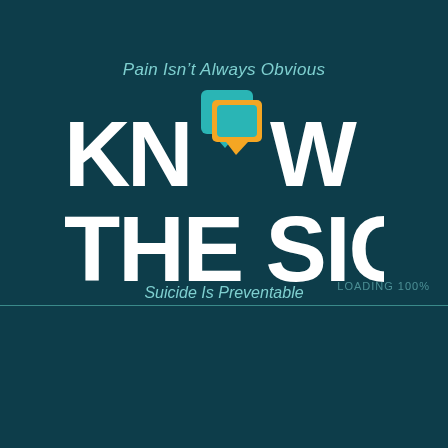[Figure (logo): Know The Signs logo: large bold white text 'KNOW THE SIGNS' with overlapping teal and orange speech bubble icons forming the letter O, tagline 'Pain Isn't Always Obvious' above and 'Suicide Is Preventable' below]
LOADING 100%